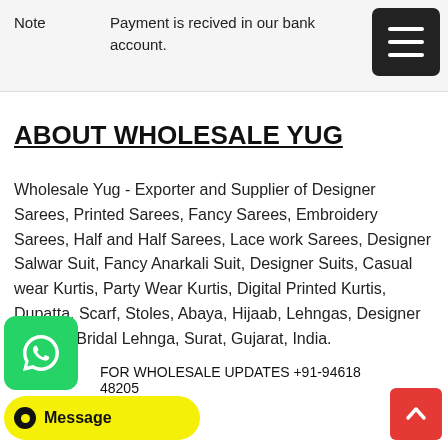Note   Payment is recived in our bank account.
ABOUT WHOLESALE YUG
Wholesale Yug - Exporter and Supplier of Designer Sarees, Printed Sarees, Fancy Sarees, Embroidery Sarees, Half and Half Sarees, Lace work Sarees, Designer Salwar Suit, Fancy Anarkali Suit, Designer Suits, Casual wear Kurtis, Party Wear Kurtis, Digital Printed Kurtis, Dupatta, Scarf, Stoles, Abaya, Hijaab, Lehngas, Designer Lehnga, Bridal Lehnga, Surat, Gujarat, India.
FOR WHOLESALE UPDATES +91-94618 48205